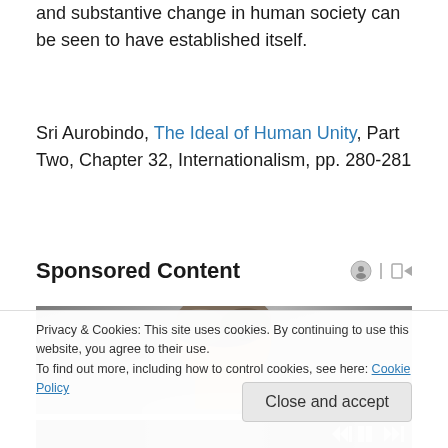and substantive change in human society can be seen to have established itself.
Sri Aurobindo, The Ideal of Human Unity, Part Two, Chapter 32, Internationalism, pp. 280-281
Sponsored Content
[Figure (photo): Cropped photo of a person's head with gray/brown hair against a gray background]
Privacy & Cookies: This site uses cookies. By continuing to use this website, you agree to their use.
To find out more, including how to control cookies, see here: Cookie Policy
Close and accept
[Figure (photo): Bottom strip of a photo with media playback controls]